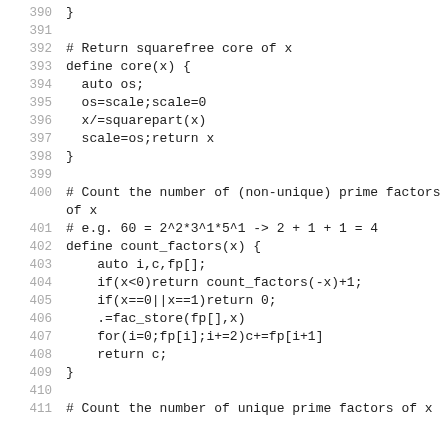390    }
391
392    # Return squarefree core of x
393    define core(x) {
394      auto os;
395      os=scale;scale=0
396      x/=squarepart(x)
397      scale=os;return x
398    }
399
400    # Count the number of (non-unique) prime factors of x
401    # e.g. 60 = 2^2*3^1*5^1 -> 2 + 1 + 1 = 4
402    define count_factors(x) {
403        auto i,c,fp[];
404        if(x<0)return count_factors(-x)+1;
405        if(x==0||x==1)return 0;
406        .=fac_store(fp[],x)
407        for(i=0;fp[i];i+=2)c+=fp[i+1]
408        return c;
409    }
410
411    # Count the number of unique prime factors of x